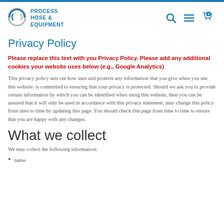Process Hose & Equipment — navigation header with logo, search, menu, and cart icons
Privacy Policy
Please replace this text with you Privacy Policy. Please add any additional cookies your website uses below (e.g., Google Analytics)
This privacy policy sets out how uses and protects any information that you give when you use this website. is committed to ensuring that your privacy is protected. Should we ask you to provide certain information by which you can be identified when using this website, then you can be assured that it will only be used in accordance with this privacy statement. may change this policy from time to time by updating this page. You should check this page from time to time to ensure that you are happy with any changes.
What we collect
We may collect the following information:
name